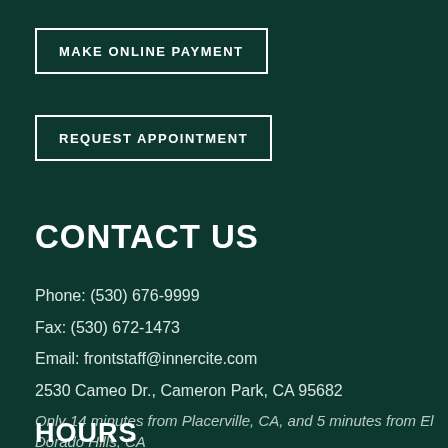MAKE ONLINE PAYMENT
REQUEST APPOINTMENT
CONTACT US
Phone: (530) 676-9999
Fax: (530) 672-1473
Email: frontstaff@innercite.com
2530 Cameo Dr., Cameron Park, CA 95682
Only 14 minutes from Placerville, CA, and 5 minutes from El Dorado Hills, CA
HOURS